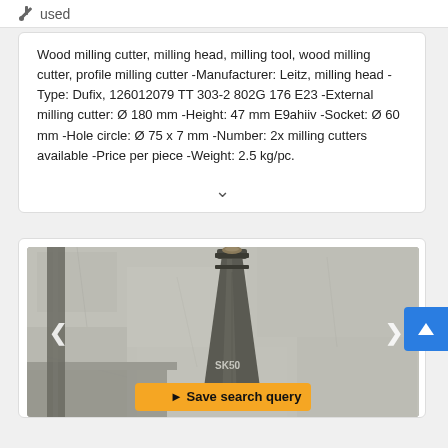used
Wood milling cutter, milling head, milling tool, wood milling cutter, profile milling cutter -Manufacturer: Leitz, milling head -Type: Dufix, 126012079 TT 303-2 802G 176 E23 -External milling cutter: Ø 180 mm -Height: 47 mm E9ahiiv -Socket: Ø 60 mm -Hole circle: Ø 75 x 7 mm -Number: 2x milling cutters available -Price per piece -Weight: 2.5 kg/pc.
[Figure (photo): Photo of a milling tool (SK50 taper shank) on a metal surface with concrete wall background, with navigation arrows and a Save search query button overlay]
Save search query